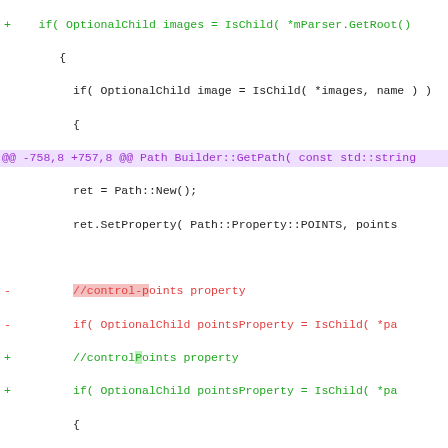[Figure (screenshot): A code diff view showing changes to C++ source code. Lines with + are additions in green, lines with - are deletions in red, and @@ lines are hunk headers in purple. The diff shows changes to OptionalChild/controlPoints property handling across Path Builder and PathConstrainer Builder functions.]